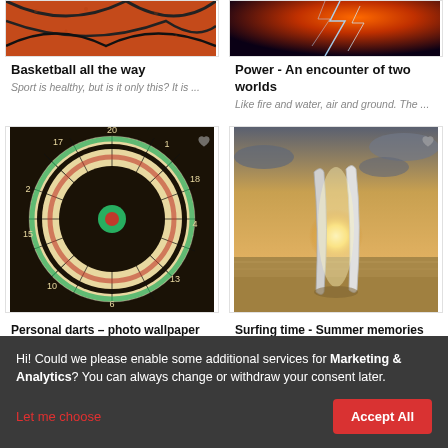[Figure (photo): Partial view of a basketball texture, orange with black lines]
Basketball all the way
Sport is healthy, but is it only this? It is ...
[Figure (photo): Partial view of an electric lightning/power image, dark blue and orange tones]
Power - An encounter of two worlds
Like fire and water, air and ground. The ...
[Figure (photo): Dartboard close-up, classic bristle dartboard with red, green, black, and cream segments]
Personal darts – photo wallpaper
It is good to live with a passion. Every s...
[Figure (photo): Two surfboards standing upright on a beach at sunset with dramatic cloudy sky]
Surfing time - Summer memories
Every moment spent on the beach is ma...
Hi! Could we please enable some additional services for Marketing & Analytics? You can always change or withdraw your consent later.
Let me choose
Accept All